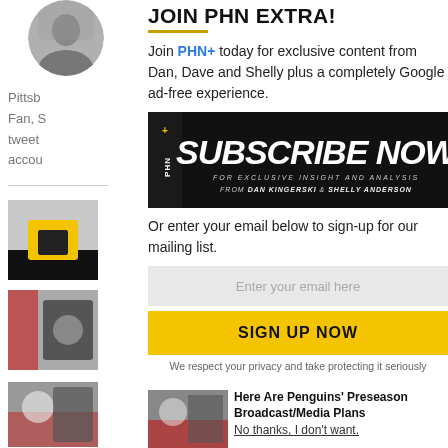[Figure (photo): Circular avatar photo of a person in grey shirt against brick wall background]
Pittsb Fan, S tweet accou
JOIN PHN EXTRA!
Join PHN+ today for exclusive content from Dan, Dave and Shelly plus a completely Google ad-free experience.
[Figure (illustration): PHN+ Subscribe Now banner - black background with bold white italic text 'SUBSCRIBE NOW' and subtext 'FOR EXCLUSIVE INSIGHT AND ANALYSIS FROM DAN KINGERSKI & SHELLY ANDERSON']
Or enter your email below to sign-up for our mailing list.
Enter your email here
SIGN UP NOW
We respect your privacy and take protecting it seriously
[Figure (photo): Hockey player thumbnail]
[Figure (photo): Hockey goalie thumbnail]
[Figure (photo): Penguins game thumbnail]
Here Are Penguins' Preseason Broadcast/Media Plans
No thanks, I don't want.